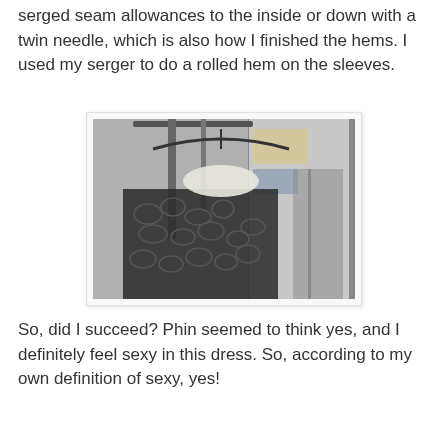serged seam allowances to the inside or down with a twin needle, which is also how I finished the hems.  I used my serger to do a rolled hem on the sleeves.
[Figure (photo): A black and white patterned dress (with butterfly/leaf print mesh fabric) hanging on a clothing rack or hanger in a closet setting, photographed from close up.]
So, did I succeed? Phin seemed to think yes, and I definitely feel sexy in this dress. So, according to my own definition of sexy, yes!